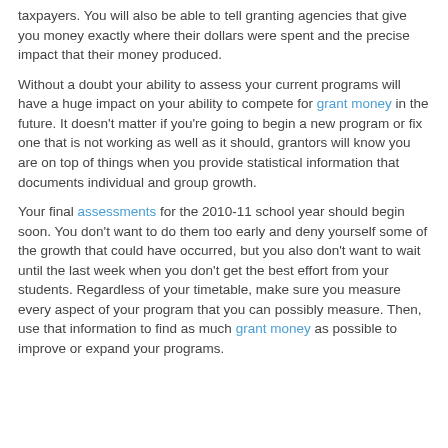taxpayers. You will also be able to tell granting agencies that give you money exactly where their dollars were spent and the precise impact that their money produced.
Without a doubt your ability to assess your current programs will have a huge impact on your ability to compete for grant money in the future. It doesn't matter if you're going to begin a new program or fix one that is not working as well as it should, grantors will know you are on top of things when you provide statistical information that documents individual and group growth.
Your final assessments for the 2010-11 school year should begin soon. You don't want to do them too early and deny yourself some of the growth that could have occurred, but you also don't want to wait until the last week when you don't get the best effort from your students. Regardless of your timetable, make sure you measure every aspect of your program that you can possibly measure. Then, use that information to find as much grant money as possible to improve or expand your programs.